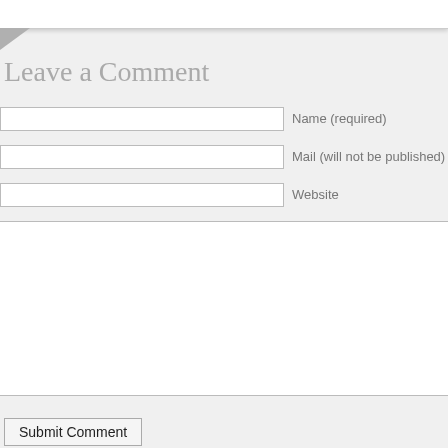Leave a Comment
Name (required)
Mail (will not be published) (req
Website
Submit Comment